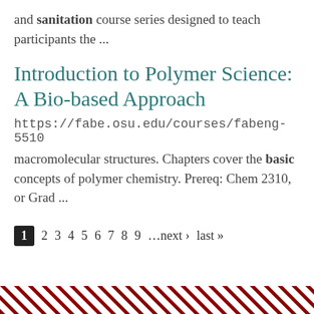and sanitation course series designed to teach participants the ...
Introduction to Polymer Science: A Bio-based Approach
https://fabe.osu.edu/courses/fabeng-5510
macromolecular structures. Chapters cover the basic concepts of polymer chemistry. Prereq: Chem 2310, or Grad ...
1 2 3 4 5 6 7 8 9 …next › last »